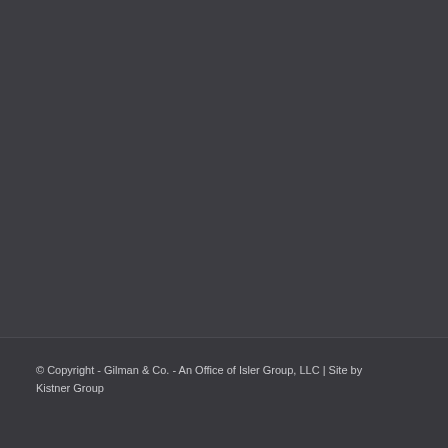© Copyright - Gilman & Co. - An Office of Isler Group, LLC | Site by Kistner Group